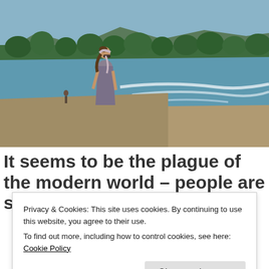[Figure (photo): Woman standing on a beach with waves, wearing a headband and sunglasses, looking toward the ocean. Green tropical hills in background. Sandy beach with footprints.]
It seems to be the plague of the modern world – people are stuck in their 9-5 office
Privacy & Cookies: This site uses cookies. By continuing to use this website, you agree to their use.
To find out more, including how to control cookies, see here: Cookie Policy
Close and accept